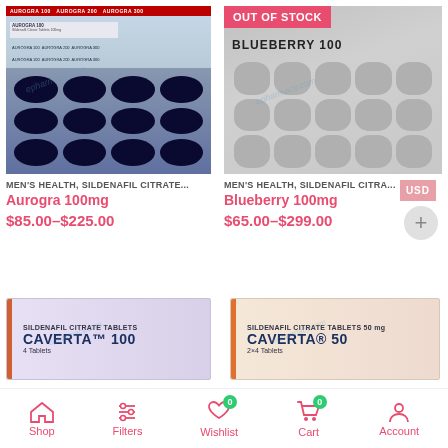[Figure (photo): Aurogra 100mg blister pack with dark blue diamond-shaped pills and packaging]
MEN'S HEALTH, SILDENAFIL CITRATE...
Aurogra 100mg
$85.00–$225.00
[Figure (photo): Blueberry 100mg silver blister pack with round grey pills, OUT OF STOCK badge]
MEN'S HEALTH, SILDENAFIL CITRA...
Blueberry 100mg
$65.00–$299.00
[Figure (photo): Caverta 100 sildenafil citrate tablets box]
[Figure (photo): Caverta 50 sildenafil citrate tablets 50mg box]
Shop  Filters  Wishlist 0  Cart 0  Account